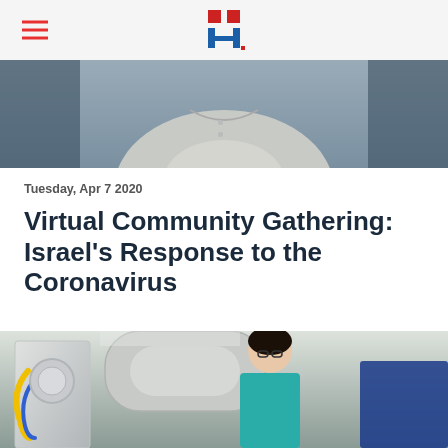Hadassah (logo)
[Figure (photo): Partial photo of a person in a light grey shirt, cropped at the top of the page]
Tuesday, Apr 7 2020
Virtual Community Gathering: Israel's Response to the Coronavirus
Israel's experts talk about the Coronavirus, how Israel responded and "best practices" developed...
READ MORE ›
[Figure (photo): Photo of a woman in teal scrubs standing in a medical facility with equipment including what appears to be a dialysis or imaging machine]